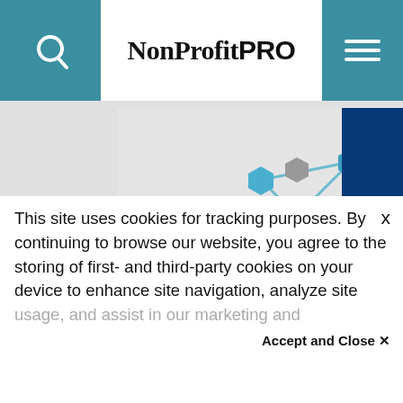NonProfitPRO
[Figure (illustration): Network/graph illustration showing hexagonal nodes connected by lines, with a Y-shaped connector at the bottom, in teal and grey colors]
Community Brands Acquires BigSIS, a Fully Integrated
Are Fun
This site uses cookies for tracking purposes. By continuing to browse our website, you agree to the storing of first- and third-party cookies on your device to enhance site navigation, analyze site usage, and assist in our marketing and
Accept and Close ✕
Your browser settings do not allow cross-site tracking for advertising. Click on this page to allow AdRoll to use cross-site tracking to tailor ads to you. Learn more or opt out of this AdRoll tracking by clicking here. This message only appears once.